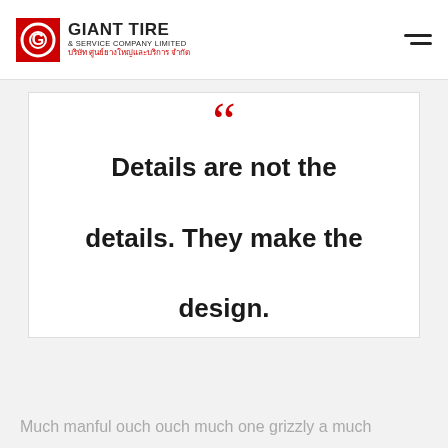GIANT TIRE & SERVICE COMPANY LIMITED บริษัท ศูนย์ยางใหญ่และบริการ จำกัด
“ Details are not the details. They make the design.
Much manful ouch ouch much one grizzly a much